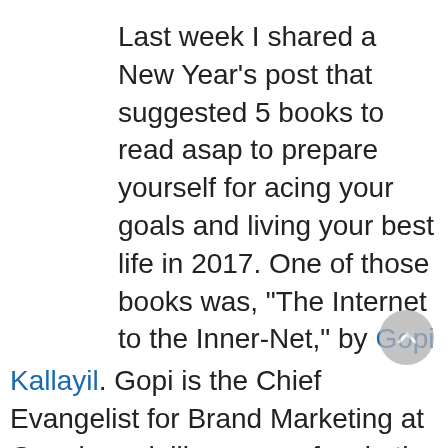Last week I shared a New Year's post that suggested 5 books to read asap to prepare yourself for acing your goals and living your best life in 2017. One of those books was, "The Internet to the Inner-Net," by Gopi Kallayil. Gopi is the Chief Evangelist for Brand Marketing at Google and, like many of us in the tech industry, lives a very fast-paced and high-tech existence. In the book, which is a collection of short